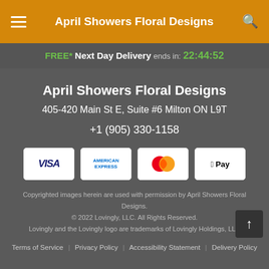April Showers Floral Designs
FREE* Next Day Delivery ends in: 22:44:52
April Showers Floral Designs
405-420 Main St E, Suite #6 Milton ON L9T
+1 (905) 330-1158
[Figure (logo): Payment method icons: VISA, American Express, Mastercard, Apple Pay]
Copyrighted images herein are used with permission by April Showers Floral Designs. © 2022 Lovingly, LLC. All Rights Reserved. Lovingly and the Lovingly logo are trademarks of Lovingly Holdings, LLC
Terms of Service | Privacy Policy | Accessibility Statement | Delivery Policy